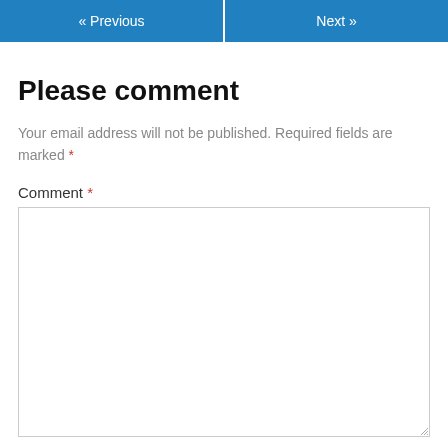« Previous    Next »
Please comment
Your email address will not be published. Required fields are marked *
Comment *